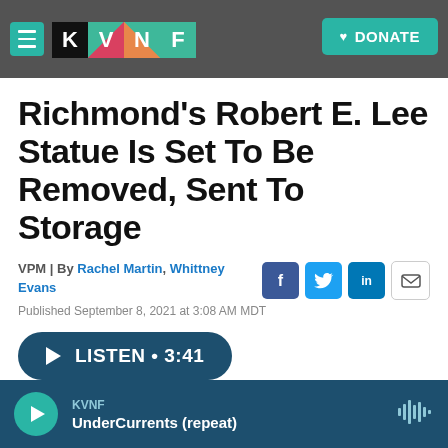KVNF | DONATE
Richmond's Robert E. Lee Statue Is Set To Be Removed, Sent To Storage
VPM | By Rachel Martin, Whittney Evans
Published September 8, 2021 at 3:08 AM MDT
LISTEN • 3:41
KVNF UnderCurrents (repeat)